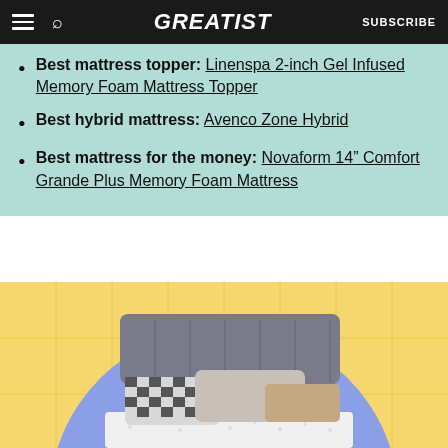GREATIST — SUBSCRIBE
Best mattress topper: Linenspa 2-Inch Gel Infused Memory Foam Mattress Topper
Best hybrid mattress: Avenco Zone Hybrid
Best mattress for the money: Novaform 14" Comfort Grande Plus Memory Foam Mattress
[Figure (photo): A bed with gray upholstered headboard and pillows on a white mattress, placed inside a blue circle on a yellow grid background.]